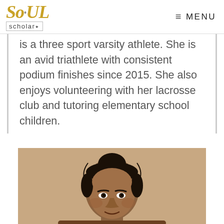SOUL Scholar — MENU
is a three sport varsity athlete. She is an avid triathlete with consistent podium finishes since 2015. She also enjoys volunteering with her lacrosse club and tutoring elementary school children.
[Figure (photo): Portrait photo of a young woman with hair pulled up, photographed against a beige/tan background, cropped at the shoulders.]